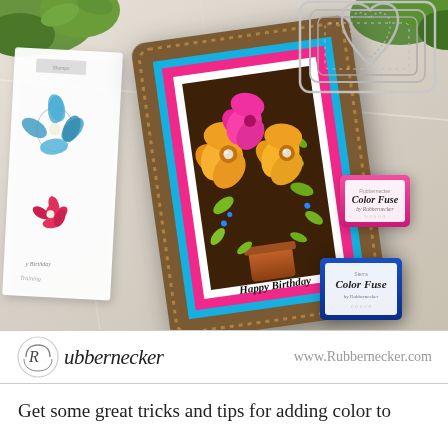[Figure (photo): A crafting flat-lay photo showing a handmade birthday card with flowers in a pot, layered with pink, cyan, and brown scalloped frames reading 'Happy Birthday', surrounded by stamp sheets with floral designs, silver die-cut frames, and two Color Fuse ink pads in pink and blue/sierra colors by Rubbernecker.]
Rubbernecker    www.Rubbernecker.com
Get some great tricks and tips for adding color to